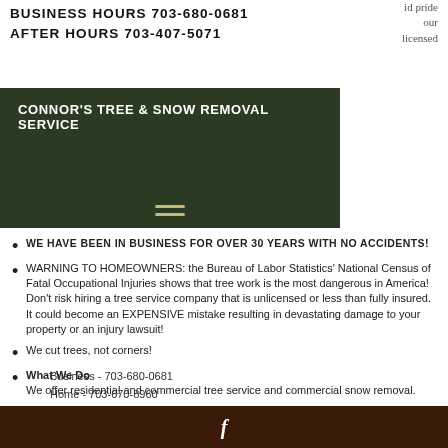id pride
our
licensed
BUSINESS HOURS 703-680-0681
AFTER HOURS 703-407-5071
CONNOR'S TREE & SNOW REMOVAL SERVICE
WE HAVE BEEN IN BUSINESS FOR OVER 30 YEARS WITH NO ACCIDENTS!
WARNING TO HOMEOWNERS: the Bureau of Labor Statistics' National Census of Fatal Occupational Injuries shows that tree work is the most dangerous in America! Don't risk hiring a tree service company that is unlicensed or less than fully insured. It could become an EXPENSIVE mistake resulting in devastating damage to your property or an injury lawsuit!
We cut trees, not corners!
What We Do
We offer residential and commercial tree service and commercial snow removal.
Business - 703-680-0681
Home - 703-670-8960
Fax - 703-670-7460
f